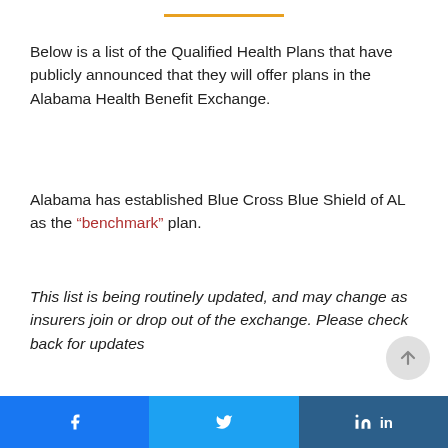Below is a list of the Qualified Health Plans that have publicly announced that they will offer plans in the Alabama Health Benefit Exchange.
Alabama has established Blue Cross Blue Shield of AL as the “benchmark” plan.
This list is being routinely updated, and may change as insurers join or drop out of the exchange. Please check back for updates
Blue Cross and Blue Shield of Alabama Plan Website:
https://www.bcbsal.org/web/index.html
Facebook  Twitter  in